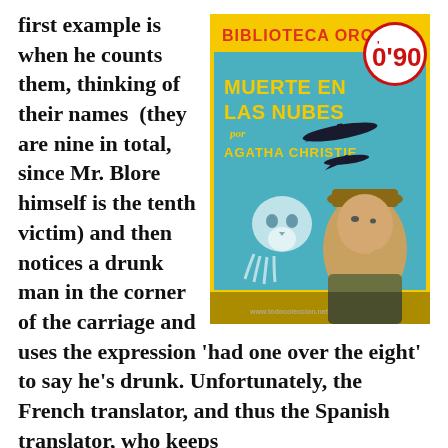first example is when he counts them, thinking of their names (they are nine in total, since Mr. Blore himself is the tenth victim) and then notices a drunk man in the corner of the carriage and uses the expression 'had one over the eight' to say he's drunk. Unfortunately, the French translator, and thus the Spanish translator, who keeps
[Figure (illustration): Book cover of 'Muerte en las Nubes' (Death in the Clouds) by Agatha Christie, published in Biblioteca Oro series, price 0'90. Yellow background with teal illustration showing a skull, a detective figure in hat, and airplane silhouettes.]